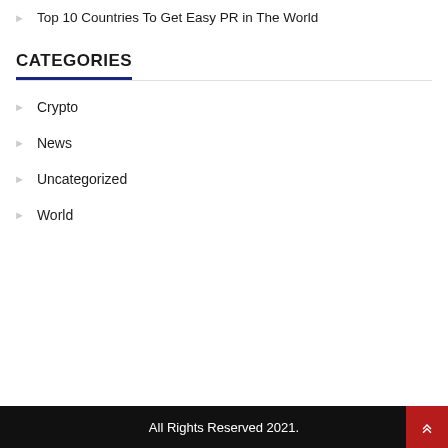Top 10 Countries To Get Easy PR in The World
CATEGORIES
Crypto
News
Uncategorized
World
All Rights Reserved 2021.